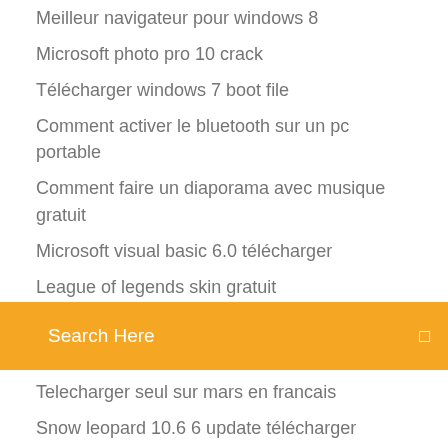Meilleur navigateur pour windows 8
Microsoft photo pro 10 crack
Télécharger windows 7 boot file
Comment activer le bluetooth sur un pc portable
Comment faire un diaporama avec musique gratuit
Microsoft visual basic 6.0 télécharger
League of legends skin gratuit
[Figure (screenshot): Orange search bar with text 'Search Here' and a small square icon on the right]
Telecharger seul sur mars en francais
Snow leopard 10.6 6 update télécharger
Partager des photos et vidéos en ligne
Totally accurate battle simulator jeu gratuit
Decrypter mot de passe
Meilleur application de modification de photo
Gta san andreas car patch gratuit télécharger
Comment gagner de largent sur gta v
League of legends skin gratuit
Simulateur davion jeux pc